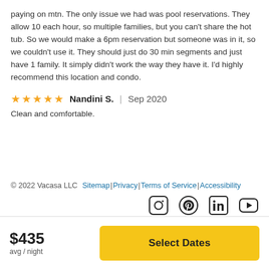paying on mtn. The only issue we had was pool reservations. They allow 10 each hour, so multiple families, but you can't share the hot tub. So we would make a 6pm reservation but someone was in it, so we couldn't use it. They should just do 30 min segments and just have 1 family. It simply didn't work the way they have it. I'd highly recommend this location and condo.
★★★★★ Nandini S. | Sep 2020
Clean and comfortable.
© 2022 Vacasa LLC  Sitemap | Privacy | Terms of Service | Accessibility
$435 avg / night
Select Dates